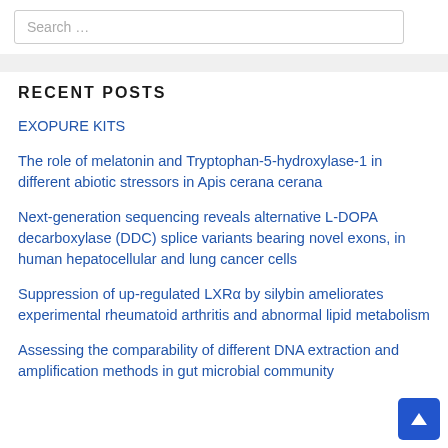Search …
RECENT POSTS
EXOPURE KITS
The role of melatonin and Tryptophan-5-hydroxylase-1 in different abiotic stressors in Apis cerana cerana
Next-generation sequencing reveals alternative L-DOPA decarboxylase (DDC) splice variants bearing novel exons, in human hepatocellular and lung cancer cells
Suppression of up-regulated LXRα by silybin ameliorates experimental rheumatoid arthritis and abnormal lipid metabolism
Assessing the comparability of different DNA extraction and amplification methods in gut microbial community